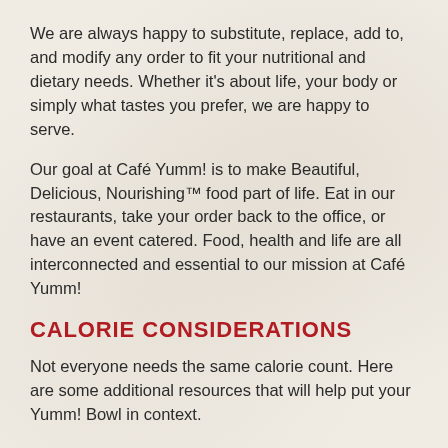We are always happy to substitute, replace, add to, and modify any order to fit your nutritional and dietary needs. Whether it's about life, your body or simply what tastes you prefer, we are happy to serve.
Our goal at Café Yumm! is to make Beautiful, Delicious, Nourishing™ food part of life. Eat in our restaurants, take your order back to the office, or have an event catered. Food, health and life are all interconnected and essential to our mission at Café Yumm!
CALORIE CONSIDERATIONS
Not everyone needs the same calorie count. Here are some additional resources that will help put your Yumm! Bowl in context.
Daily Calorie Needs Calculator
Understanding Body Mass Index or BMI is important to knowing what level of calorie and nutrient intake is right for you. The BMI is not one-size-fits-all, but it can be helpful. Combined with a guideline for appropriate